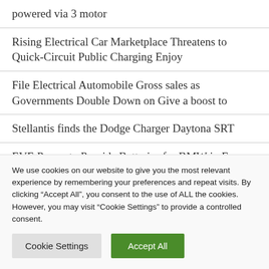powered via 3 motor
Rising Electrical Car Marketplace Threatens to Quick-Circuit Public Charging Enjoy
File Electrical Automobile Gross sales as Governments Double Down on Give a boost to
Stellantis finds the Dodge Charger Daytona SRT
EVE Power to Provide Batteries for BMW in Europe
We use cookies on our website to give you the most relevant experience by remembering your preferences and repeat visits. By clicking “Accept All”, you consent to the use of ALL the cookies. However, you may visit “Cookie Settings” to provide a controlled consent.